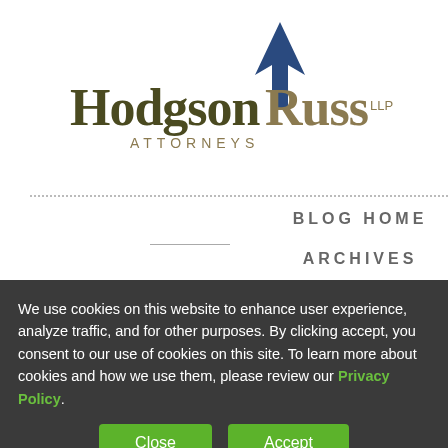[Figure (logo): Hodgson Russ LLP Attorneys logo with blue arrow/triangle icon above text]
Principal Address: The Guaranty Building, 140 Pearl Street, Suite 100, Buffalo, NY 14202, Tel: 716.856.4000
BLOG HOME
ARCHIVES
Stay Connected
[Figure (infographic): RSS feed icon (orange) and LinkedIn icon (blue)]
We use cookies on this website to enhance user experience, analyze traffic, and for other purposes. By clicking accept, you consent to our use of cookies on this site. To learn more about cookies and how we use them, please review our Privacy Policy.
Close
Accept